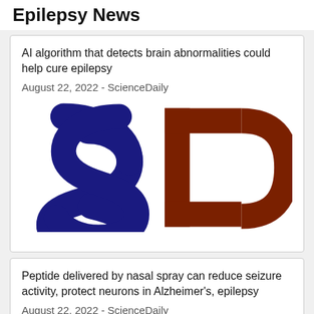Epilepsy News
AI algorithm that detects brain abnormalities could help cure epilepsy
August 22, 2022 - ScienceDaily
[Figure (logo): ScienceDaily logo showing stylized 'S' in dark blue and 'D' in dark brown/red]
Peptide delivered by nasal spray can reduce seizure activity, protect neurons in Alzheimer's, epilepsy
August 22, 2022 - ScienceDaily
[Figure (logo): ScienceDaily logo partially visible, same style as above]